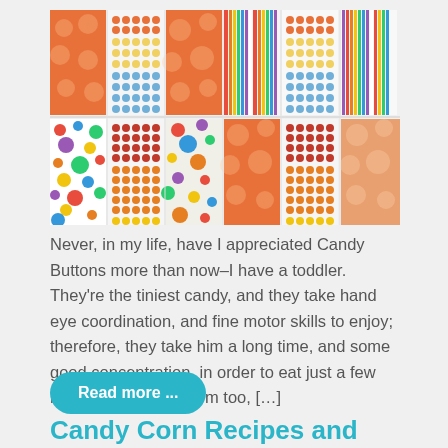[Figure (photo): A collage of 12 candy-themed pattern tiles arranged in a 6x2 grid: orange polka dot fabric, rows of candy buttons (orange, yellow, blue rows), orange dot fabric, multicolor vertical stripes, more candy button rows, multicolor large polka dots on white, orange fabric, dark red candy button rows, orange/red candy button rows, more orange fabric, and peach/orange dot fabric panels.]
Never, in my life, have I appreciated Candy Buttons more than now–I have a toddler. They're the tiniest candy, and they take hand eye coordination, and fine motor skills to enjoy; therefore, they take him a long time, and some good concentration, in order to eat just a few little treats. I liked them too, […]
Read more ...
Candy Corn Recipes and